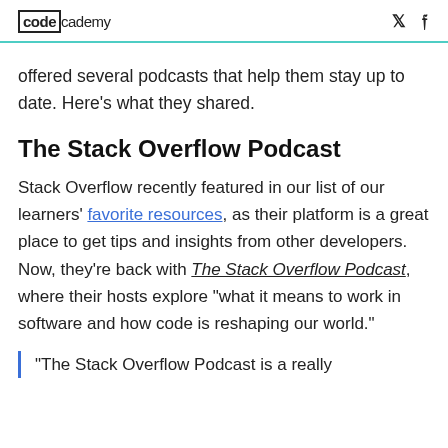codecademy
offered several podcasts that help them stay up to date. Here's what they shared.
The Stack Overflow Podcast
Stack Overflow recently featured in our list of our learners' favorite resources, as their platform is a great place to get tips and insights from other developers. Now, they're back with The Stack Overflow Podcast, where their hosts explore "what it means to work in software and how code is reshaping our world."
"The Stack Overflow Podcast is a really